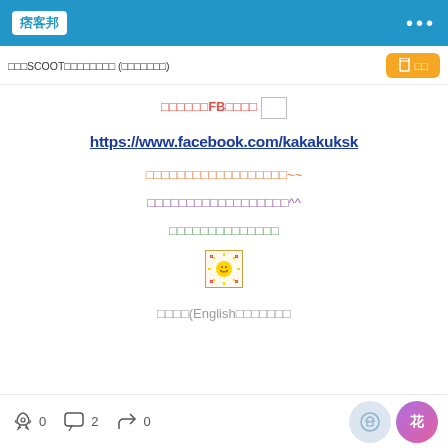痞客邦
搭酷SCOOT超省機票攻略 (持續更新)
加入我們FB粉絲團
https://www.facebook.com/kakakuksk
喜歡我們的文章歡迎追蹤我們的粉絲頁~~
追蹤後就不會錯過我們最新的文章^^
有什麼問題歡迎留言詢問
[Figure (illustration): Pixel art sun/flower emoji icon in bordered box]
下面附上(English版本請點這裡
0 comments 2 share 0